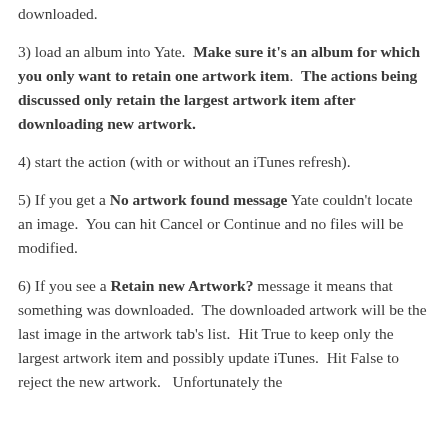downloaded.
3) load an album into Yate.  Make sure it's an album for which you only want to retain one artwork item.  The actions being discussed only retain the largest artwork item after downloading new artwork.
4) start the action (with or without an iTunes refresh).
5) If you get a No artwork found message Yate couldn't locate an image.  You can hit Cancel or Continue and no files will be modified.
6) If you see a Retain new Artwork? message it means that something was downloaded.  The downloaded artwork will be the last image in the artwork tab's list.  Hit True to keep only the largest artwork item and possibly update iTunes.  Hit False to reject the new artwork.   Unfortunately the